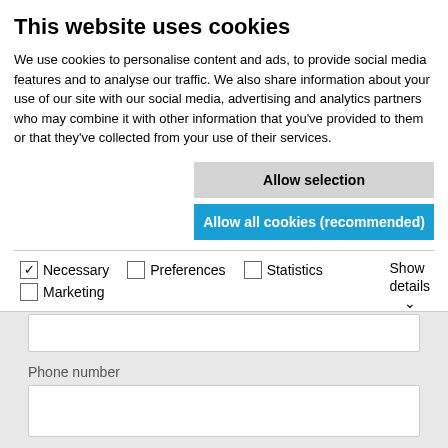This website uses cookies
We use cookies to personalise content and ads, to provide social media features and to analyse our traffic. We also share information about your use of our site with our social media, advertising and analytics partners who may combine it with other information that you've provided to them or that they've collected from your use of their services.
Allow selection
Allow all cookies (recommended)
Necessary  Preferences  Statistics  Marketing  Show details
Phone number
Country*
Please Select
I am interested in the following services: